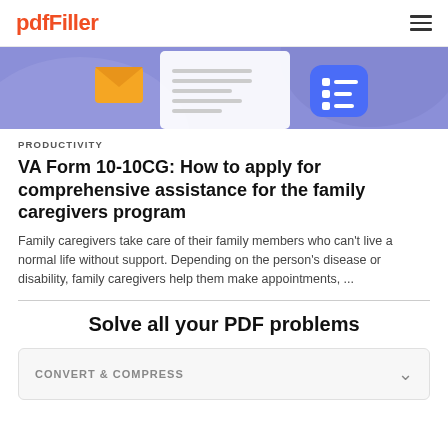pdfFiller
[Figure (illustration): Decorative hero banner with purple/blue background, showing a document with lines, an orange envelope icon, and a blue list icon on a white clipboard.]
PRODUCTIVITY
VA Form 10-10CG: How to apply for comprehensive assistance for the family caregivers program
Family caregivers take care of their family members who can't live a normal life without support. Depending on the person's disease or disability, family caregivers help them make appointments, ...
Solve all your PDF problems
CONVERT & COMPRESS